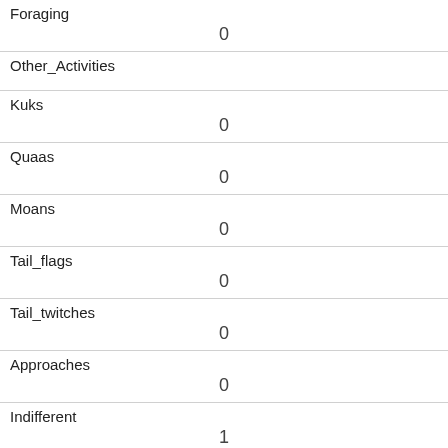| Foraging | 0 |
| Other_Activities |  |
| Kuks | 0 |
| Quaas | 0 |
| Moans | 0 |
| Tail_flags | 0 |
| Tail_twitches | 0 |
| Approaches | 0 |
| Indifferent | 1 |
| Runs_from | 0 |
| Other_Interactions |  |